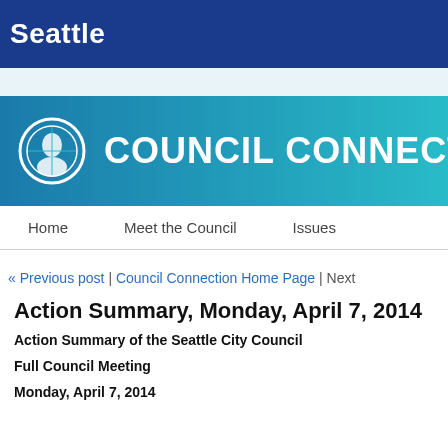Seattle
[Figure (logo): Seattle City Council Connection banner with logo and 'COUNCIL CONNECTION' text on teal/blue gradient background]
Home | Meet the Council | Issues
« Previous post  |  Council Connection Home Page  |  Next
Action Summary, Monday, April 7, 2014
Action Summary of the Seattle City Council
Full Council Meeting
Monday, April 7, 2014